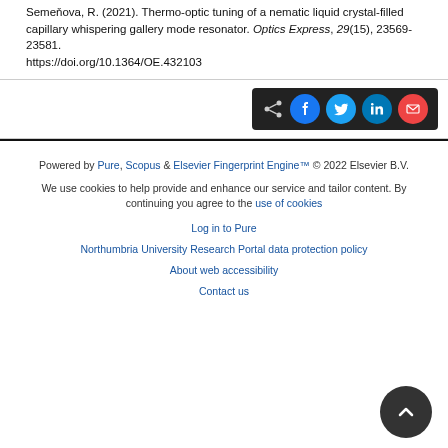Semeňova, R. (2021). Thermo-optic tuning of a nematic liquid crystal-filled capillary whispering gallery mode resonator. Optics Express, 29(15), 23569-23581. https://doi.org/10.1364/OE.432103
[Figure (other): Share bar with social media icons: share icon, Facebook, Twitter, LinkedIn, Email on dark background]
Powered by Pure, Scopus & Elsevier Fingerprint Engine™ © 2022 Elsevier B.V.
We use cookies to help provide and enhance our service and tailor content. By continuing you agree to the use of cookies
Log in to Pure
Northumbria University Research Portal data protection policy
About web accessibility
Contact us